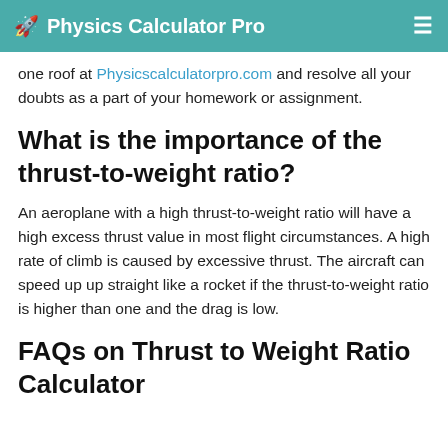Physics Calculator Pro
one roof at Physicscalculatorpro.com and resolve all your doubts as a part of your homework or assignment.
What is the importance of the thrust-to-weight ratio?
An aeroplane with a high thrust-to-weight ratio will have a high excess thrust value in most flight circumstances. A high rate of climb is caused by excessive thrust. The aircraft can speed up up straight like a rocket if the thrust-to-weight ratio is higher than one and the drag is low.
FAQs on Thrust to Weight Ratio Calculator